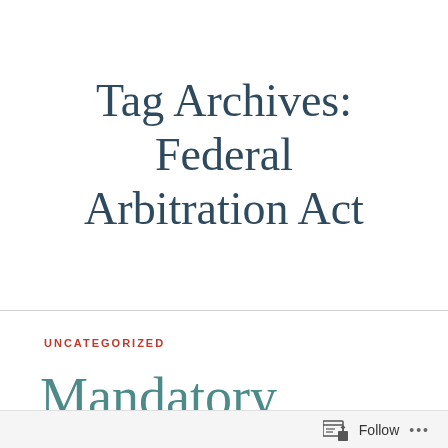Tag Archives: Federal Arbitration Act
UNCATEGORIZED
Mandatory Waiver of